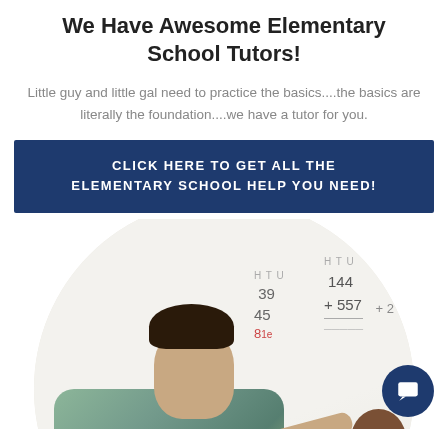We Have Awesome Elementary School Tutors!
Little guy and little gal need to practice the basics....the basics are literally the foundation....we have a tutor for you.
CLICK HERE TO GET ALL THE ELEMENTARY SCHOOL HELP YOU NEED!
[Figure (photo): A young boy writing math problems on a whiteboard, with a teacher partially visible on the right side. Math addition problems visible: 39+45, 144+557, 606+389. A circular chat bubble icon appears in the bottom right corner.]